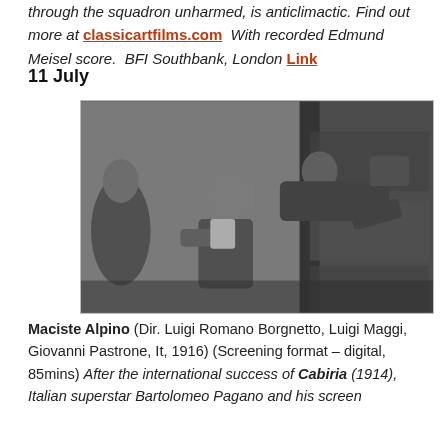through the squadron unharmed, is anticlimactic. Find out more at classicartfilms.com  With recorded Edmund Meisel score.  BFI Southbank, London Link
11 July
[Figure (photo): Black and white photograph showing a strong man holding/throwing another person, with additional figures in the background, stone wall setting.]
Maciste Alpino (Dir. Luigi Romano Borgnetto, Luigi Maggi, Giovanni Pastrone, It, 1916) (Screening format – digital, 85mins) After the international success of Cabiria (1914), Italian superstar Bartolomeo Pagano and his screen